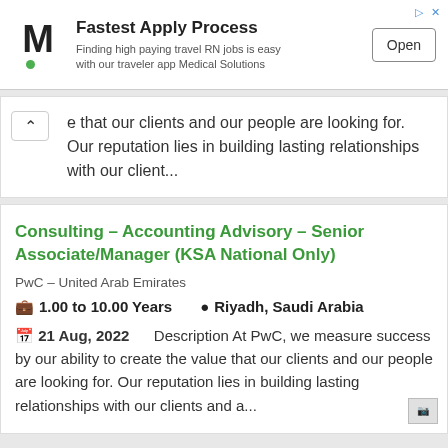[Figure (infographic): Advertisement banner for Medical Solutions with M logo, 'Fastest Apply Process' heading, tagline about travel RN jobs, and Open button]
e that our clients and our people are looking for. Our reputation lies in building lasting relationships with our client...
Consulting – Accounting Advisory – Senior Associate/Manager (KSA National Only)
PwC – United Arab Emirates
1.00 to 10.00 Years   Riyadh, Saudi Arabia
21 Aug, 2022   Description At PwC, we measure success by our ability to create the value that our clients and our people are looking for. Our reputation lies in building lasting relationships with our clients and a...